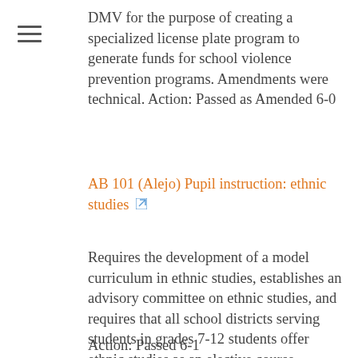DMV for the purpose of creating a specialized license plate program to generate funds for school violence prevention programs. Amendments were technical. Action: Passed as Amended 6-0
AB 101 (Alejo) Pupil instruction: ethnic studies
Requires the development of a model curriculum in ethnic studies, establishes an advisory committee on ethnic studies, and requires that all school districts serving students in grades 7-12 students offer ethnic studies as an elective course.
Action: Passed 6-1